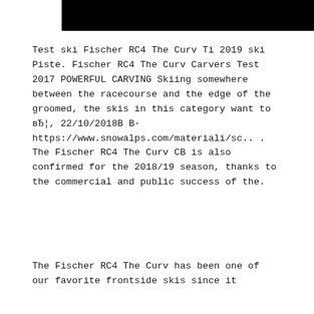[Figure (photo): Black rectangle image bar at the top of the page]
Test ski Fischer RC4 The Curv Ti 2019 ski Piste. Fischer RC4 The Curv Carvers Test 2017 POWERFUL CARVING Skiing somewhere between the racecourse and the edge of the groomed, the skis in this category want to вЂ¦, 22/10/2018В В· https://www.snowalps.com/materiali/sc... The Fischer RC4 The Curv CB is also confirmed for the 2018/19 season, thanks to the commercial and public success of the.
The Fischer RC4 The Curv has been one of our favorite frontside skis since it